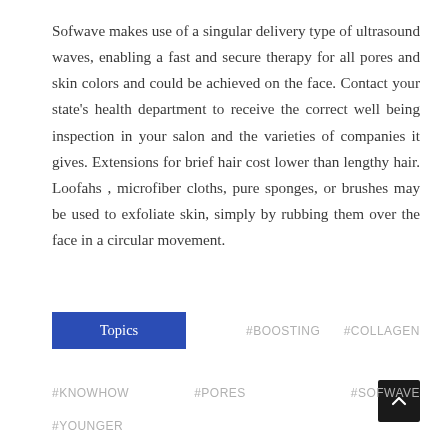Sofwave makes use of a singular delivery type of ultrasound waves, enabling a fast and secure therapy for all pores and skin colors and could be achieved on the face. Contact your state’s health department to receive the correct well being inspection in your salon and the varieties of companies it gives. Extensions for brief hair cost lower than lengthy hair. Loofahs , microfiber cloths, pure sponges, or brushes may be used to exfoliate skin, simply by rubbing them over the face in a circular movement.
Topics  #BOOSTING  #COLLAGEN  #KNOWHOW  #PORES  #SOFWAVE  #YOUNGER